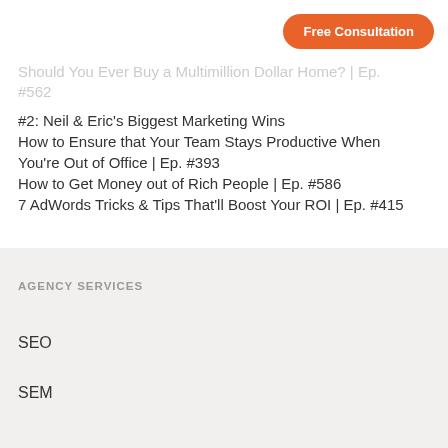[Figure (other): Orange pill-shaped Free Consultation button in top right]
Should You Ever Buy a Multimillion Dollar Home? | Ep. #562
#2: Neil & Eric's Biggest Marketing Wins
How to Ensure that Your Team Stays Productive When You're Out of Office | Ep. #393
How to Get Money out of Rich People | Ep. #586
7 AdWords Tricks & Tips That'll Boost Your ROI | Ep. #415
AGENCY SERVICES
SEO
SEM